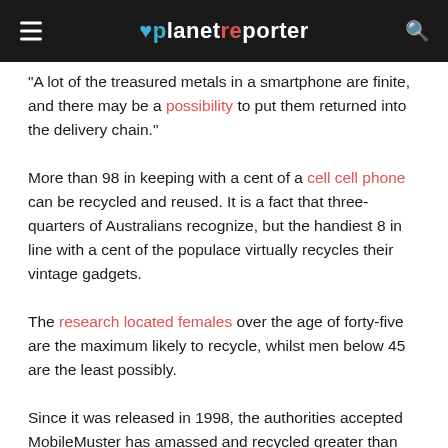planetreporter
"A lot of the treasured metals in a smartphone are finite, and there may be a possibility to put them returned into the delivery chain."
More than 98 in keeping with a cent of a cell cell phone can be recycled and reused. It is a fact that three-quarters of Australians recognize, but the handiest 8 in line with a cent of the populace virtually recycles their vintage gadgets.
The research located females over the age of forty-five are the maximum likely to recycle, whilst men below 45 are the least possibly.
Since it was released in 1998, the authorities accepted MobileMuster has amassed and recycled greater than 1244 tons of cell telephone components, or 10.86 million man or